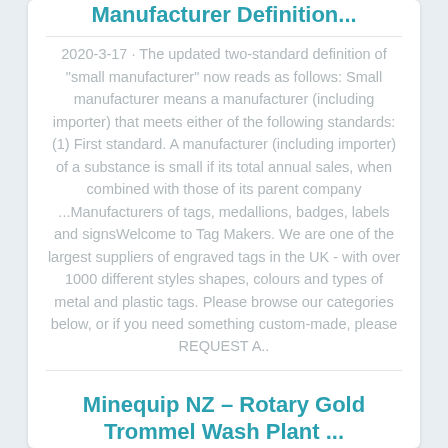Manufacturer Definition...
2020-3-17 · The updated two-standard definition of "small manufacturer" now reads as follows: Small manufacturer means a manufacturer (including importer) that meets either of the following standards: (1) First standard. A manufacturer (including importer) of a substance is small if its total annual sales, when combined with those of its parent company ...Manufacturers of tags, medallions, badges, labels and signsWelcome to Tag Makers. We are one of the largest suppliers of engraved tags in the UK - with over 1000 different styles shapes, colours and types of metal and plastic tags. Please browse our categories below, or if you need something custom-made, please REQUEST A..
Minequip NZ – Rotary Gold Trommel Wash Plant ...